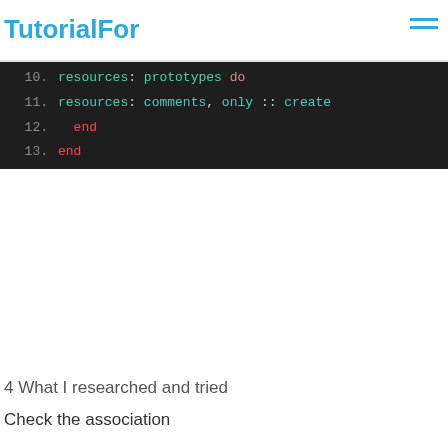TutorialFor
[Figure (screenshot): Code snippet showing Ruby routes with line numbers 10-13. Line 10: resources: prototypes do. Line 11: resources: comments, only :: create. Line 12: end. Line 13: end.]
4 What I researched and tried
Check the association